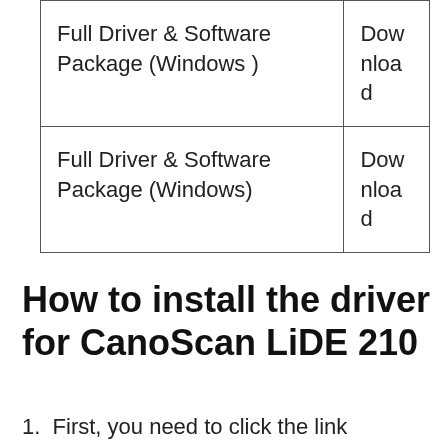|  |  |
| --- | --- |
| Full Driver & Software Package (Windows ) | Download |
| Full Driver & Software Package (Windows) | Download |
How to install the driver for CanoScan LiDE 210
1.  First, you need to click the link provided